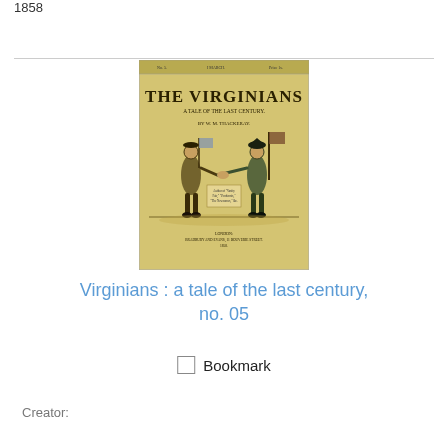1858
[Figure (illustration): Book cover of 'The Virginians: A Tale of the Last Century' by W.M. Thackeray, No. 1, showing two soldiers shaking hands, one holding a flag, on a yellowish background. Published in London by Bradbury and Evans, 11 Bouverie Street.]
Virginians : a tale of the last century, no. 05
Bookmark
Creator: